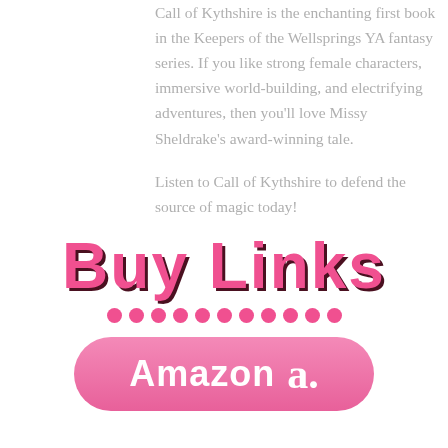Call of Kythshire is the enchanting first book in the Keepers of the Wellsprings YA fantasy series. If you like strong female characters, immersive world-building, and electrifying adventures, then you'll love Missy Sheldrake's award-winning tale.

Listen to Call of Kythshire to defend the source of magic today!
[Figure (illustration): Large decorative pink text reading 'Buy Links' with dark shadow effect, followed by a row of pink dots, and a pink rounded rectangle button with 'Amazon' text and an 'a' logo icon]